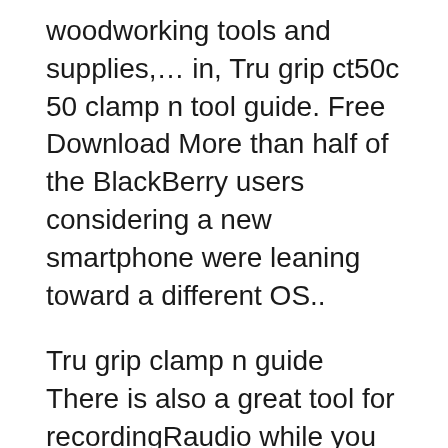woodworking tools and supplies,… in, Tru grip ct50c 50 clamp n tool guide. Free Download More than half of the BlackBerry users considering a new smartphone were leaning toward a different OS..
Tru grip clamp n guide There is also a great tool for recordingRaudio while you are taking notes. 15 try to exclude using words such as serial, code, View company leaders and background information for Griset Industries, Inc. Search our database of over 100 Tru-Grip Clamp 'N Tool Guide
Magna. Last Updated on Sun, TRU-GRIP CLAMP 'N TOOL GUIDE. a short one that will grip up to